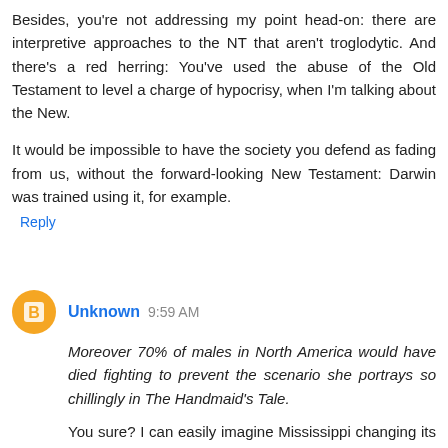Besides, you're not addressing my point head-on: there are interpretive approaches to the NT that aren't troglodytic. And there's a red herring: You've used the abuse of the Old Testament to level a charge of hypocrisy, when I'm talking about the New.

It would be impossible to have the society you defend as fading from us, without the forward-looking New Testament: Darwin was trained using it, for example.
Reply
Unknown 9:59 AM
Moreover 70% of males in North America would have died fighting to prevent the scenario she portrays so chillingly in The Handmaid's Tale.
You sure? I can easily imagine Mississippi changing its name to Gilead, especially if they pass the Personhood Amendment.
Reply